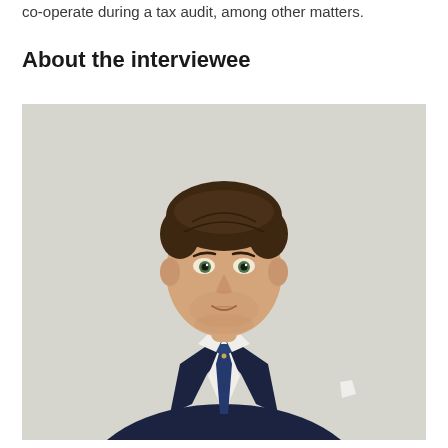co-operate during a tax audit, among other matters.
About the interviewee
[Figure (photo): Professional headshot of a young man in a dark navy suit, white shirt, and dark blue tie with a pocket square, posed with arms crossed against a light grey background.]